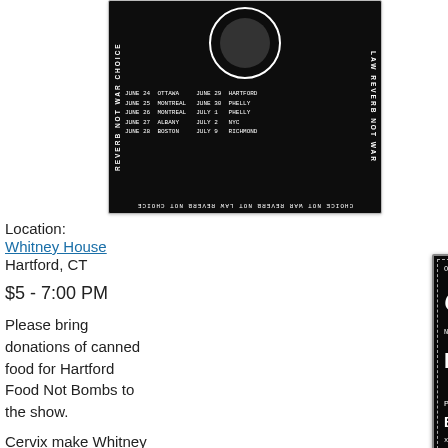[Figure (photo): Black and white punk/hardcore concert flyer with vertical text 'REVERB NOT WAR CHOICE' on sides, circular logo at top, and tour dates listed: JUNE 24 OTTAWA, JUNE 25 MONTREAL, JUNE 26 MONTREAL, JUNE 27 ALBANY, JUNE 28 BOSTON, JUNE 29 HARTFORD, JUNE 30 PHELLY, JULY 1 PHELLY, JULY 2 NYC, JULY 9 RICHMOND. Bottom text reversed: 'CHOICE NOT WAR REVERB NOT LAW REVERB NOT CHOICE']
Location:
Whitney House
Hartford, CT
$5 - 7:00 PM
Please bring donations of canned food for Hartford Food Not Bombs to the show.
Cervix make Whitney
[Figure (photo): Black punk/hardcore show flyer reading: 'ON TOUR FROM NYC', large stylized text 'CERVIT', 'NOISIEST FUCKING RAW PUNK', 'IRON HAND', 'JAPAN MEETS SWEDEN VIA NEW ENGLAND', 'PLUS', 'BRICK THROWER and ZONE', 'xx GUICIEST. YEW! xx EFFECT. DARK DRILLED', 'at the Whitney House', '$5 7 pm', 'Wednesday 6/29/11', 'Bring a canned food item for HFNB (Hartford Food Not Bombs if you've got it)'. Dotted border around flyer.]